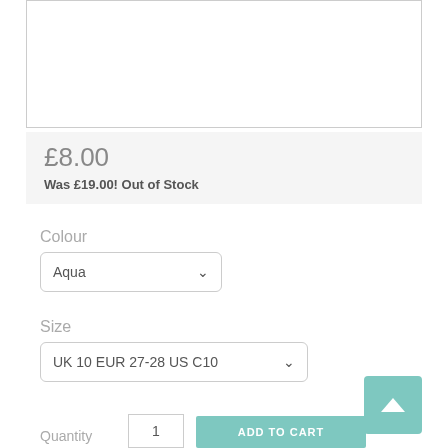[Figure (photo): White/empty product image box with border]
£8.00
Was £19.00! Out of Stock
Colour
Aqua (dropdown)
Size
UK 10 EUR 27-28 US C10 (dropdown)
Quantity  1  ADD TO CART